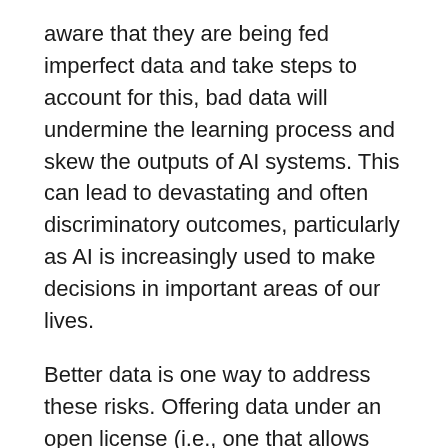aware that they are being fed imperfect data and take steps to account for this, bad data will undermine the learning process and skew the outputs of AI systems. This can lead to devastating and often discriminatory outcomes, particularly as AI is increasingly used to make decisions in important areas of our lives.
Better data is one way to address these risks. Offering data under an open license (i.e., one that allows data to be freely used, modified, and shared by anyone for any purpose) is an effective strategy towards achieving quality.
Through our Open Data Barometer — which assesses the openness and quality of government data — we are continuously monitoring whether government datasets are being proactively disclosed in key sectors, including